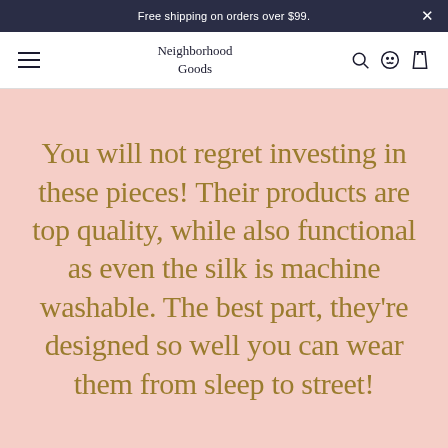Free shipping on orders over $99.
Neighborhood Goods
You will not regret investing in these pieces! Their products are top quality, while also functional as even the silk is machine washable. The best part, they're designed so well you can wear them from sleep to street!